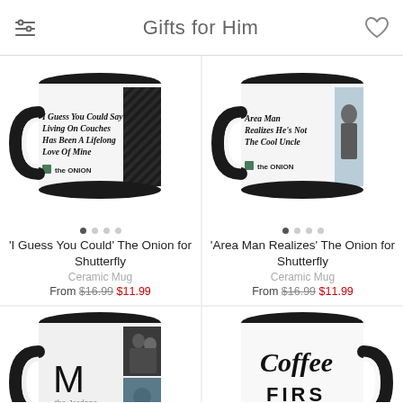Gifts for Him
[Figure (photo): Black ceramic mug with The Onion headline 'I Guess You Could Say Living On Couches Has Been A Lifelong Love Of Mine']
'I Guess You Could' The Onion for Shutterfly
Ceramic Mug
From $16.99 $11.99
[Figure (photo): Black ceramic mug with The Onion headline 'Area Man Realizes He's Not The Cool Uncle']
'Area Man Realizes' The Onion for Shutterfly
Ceramic Mug
From $16.99 $11.99
[Figure (photo): Black ceramic mug with letter M monogram and family photos]
[Figure (photo): Black ceramic mug with 'Coffee First' text]